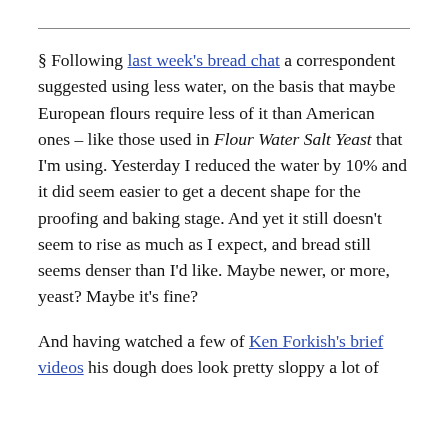§ Following last week's bread chat a correspondent suggested using less water, on the basis that maybe European flours require less of it than American ones – like those used in Flour Water Salt Yeast that I'm using. Yesterday I reduced the water by 10% and it did seem easier to get a decent shape for the proofing and baking stage. And yet it still doesn't seem to rise as much as I expect, and bread still seems denser than I'd like. Maybe newer, or more, yeast? Maybe it's fine?
And having watched a few of Ken Forkish's brief videos his dough does look pretty sloppy a lot of